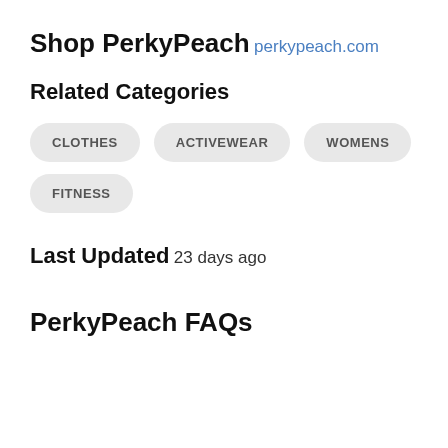Shop PerkyPeach
perkypeach.com
Related Categories
CLOTHES
ACTIVEWEAR
WOMENS
FITNESS
Last Updated
23 days ago
PerkyPeach FAQs